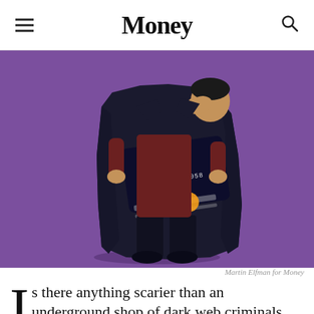Money
[Figure (illustration): Illustration of a shadowy figure in a long dark coat opening it to reveal a dark credit card with numbers '5412 7501 1058 2345 0987', expiry '= 12/20', and a Mastercard logo, set against a purple background. The figure's face is obscured by their hand/coat. Style is flat vector art.]
Martin Elfman for Money
Is there anything scarier than an underground shop of dark web criminals sharing stolen financial data? How about